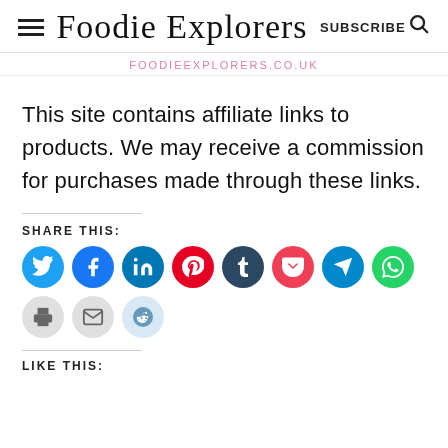Foodie Explorers — SUBSCRIBE
FOODIEEXPLORERS.CO.UK
This site contains affiliate links to products. We may receive a commission for purchases made through these links.
SHARE THIS:
[Figure (infographic): Row of social sharing icon buttons: Twitter (blue), Facebook (blue), LinkedIn (dark blue), Pinterest (red), Tumblr (dark navy), Pocket (red), Telegram (blue), WhatsApp (green), Print (light gray), Email (light gray), Reddit (light blue)]
LIKE THIS: